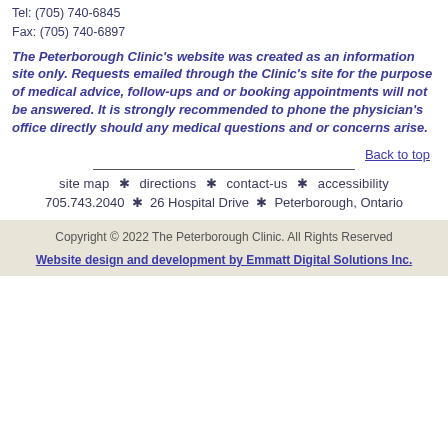Tel: (705) 740-6845
Fax: (705) 740-6897
The Peterborough Clinic's website was created as an information site only. Requests emailed through the Clinic's site for the purpose of medical advice, follow-ups and or booking appointments will not be answered. It is strongly recommended to phone the physician's office directly should any medical questions and or concerns arise.
Back to top
site map  *  directions  *  contact-us  *  accessibility
705.743.2040  *  26 Hospital Drive  *  Peterborough, Ontario
Copyright © 2022 The Peterborough Clinic. All Rights Reserved
Website design and development by Emmatt Digital Solutions Inc.